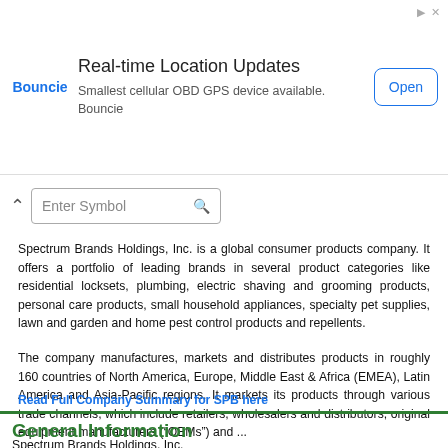[Figure (other): Advertisement banner for Bouncie - Real-time Location Updates. Shows Bouncie logo in blue, headline 'Real-time Location Updates', subtext 'Smallest cellular OBD GPS device available. Bouncie', and an 'Open' button with blue border.]
Spectrum Brands Holdings, Inc. is a global consumer products company. It offers a portfolio of leading brands in several product categories like residential locksets, plumbing, electric shaving and grooming products, personal care products, small household appliances, specialty pet supplies, lawn and garden and home pest control products and repellents.
The company manufactures, markets and distributes products in roughly 160 countries of North America, Europe, Middle East & Africa (EMEA), Latin America and Asia-Pacific regions. It markets its products through various trade channels, which include retailers, wholesalers and distributors, original equipment manufacturers (“OEMs”) and ...
Read Full Company Summary for SPB here
General Information
Spectrum Brands Holdings, Inc.